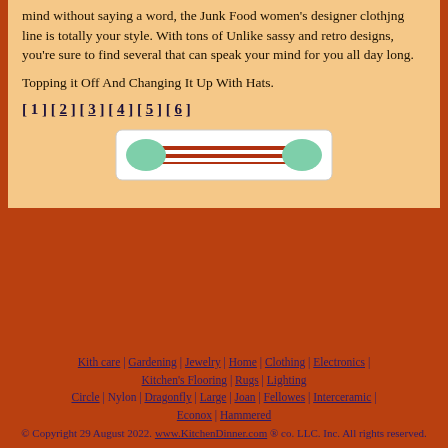mind without saying a word, the Junk Food women's designer clothjng line is totally your style. With tons of Unlike sassy and retro designs, you're sure to find several that can speak your mind for you all day long.
Topping it Off And Changing It Up With Hats.
[ 1 ] [ 2 ] [ 3 ] [ 4 ] [ 5 ] [ 6 ]
[Figure (illustration): A horizontal bar/pill divider graphic: a dark red/brown rounded rectangle bar with two green rounded pill/oval shapes at each end, on a white background with a thin border.]
Kith care | Gardening | Jewelry | Home | Clothing | Electronics | Kitchen's Flooring | Rugs | Lighting
Circle | Nylon | Dragonfly | Large | Joan | Fellowes | Interceramic | Econox | Hammered
© Copyright 29 August 2022. www.KitchenDinner.com ® co. LLC. Inc. All rights reserved.